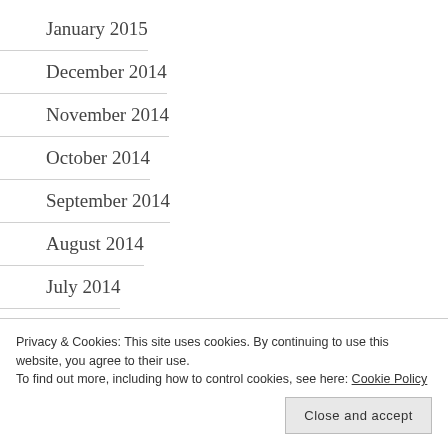January 2015
December 2014
November 2014
October 2014
September 2014
August 2014
July 2014
May 2014
April 2014
March 2014
Privacy & Cookies: This site uses cookies. By continuing to use this website, you agree to their use.
To find out more, including how to control cookies, see here: Cookie Policy
November 2013